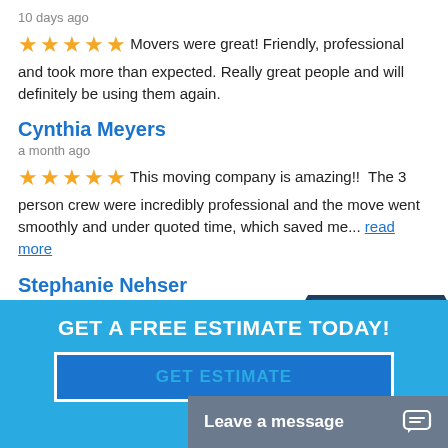10 days ago
★★★★★ Movers were great! Friendly, professional and took more than expected. Really great people and will definitely be using them again.
Cynthia Meyers
a month ago
★★★★★ This moving company is amazing!!  The 3 person crew were incredibly professional and the move went smoothly and under quoted time, which saved me... read more
Stephanie Nehser
a month ago
★★★★★ The crew and office personnel we... responsive, and patient. Made  a complicated move ve...
[Figure (infographic): NOW HIRING badge - hexagonal dark blue/teal shape with white bold text 'NOW HIRING' and subtitle 'Drivers & Moving Team']
GET A FREE ESTIMATE TODAY!
GET ESTIMATE
Leave a message